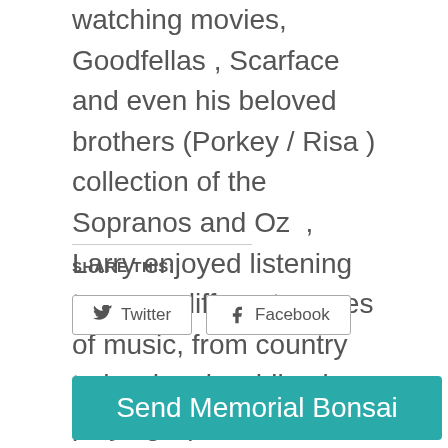watching movies, Goodfellas , Scarface and even his beloved brothers (Porkey / Risa ) collection of the Sopranos and Oz , Larry enjoyed listening to many different genres of music, from country to hard rock, while also playing Spades, Hearts and Breakout with his beloved mother and siblings.
SHARE THIS:
[Figure (other): Twitter and Facebook share buttons]
[Figure (other): Send Memorial Bonsai teal button]
Tribute Video